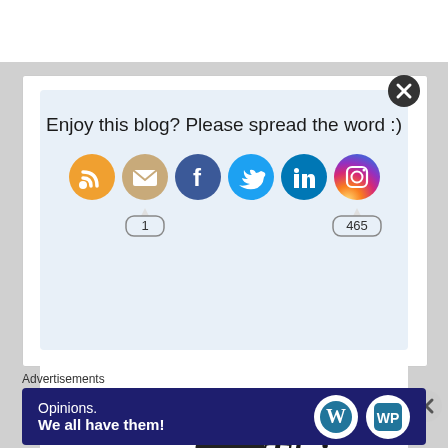Enjoy this blog? Please spread the word :)
[Figure (infographic): Social sharing buttons: RSS (orange), Email (tan), Facebook (blue), Twitter (light blue), LinkedIn (blue), Instagram (purple/gradient). Counter bubble showing '1' below Email, counter bubble showing '465' below Instagram.]
[Figure (illustration): Podcast/blog illustration: vintage microphone silhouette with a coffee cup with steam, and script text reading 'This is Her Story']
Advertisements
[Figure (infographic): Advertisement banner: dark blue background with white text 'Opinions. We all have them!' and WordPress and WP logos on the right.]